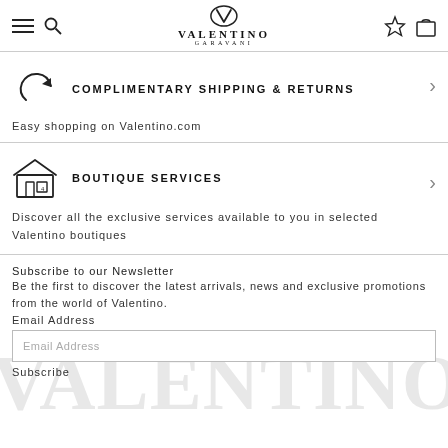VALENTINO GARAVANI
COMPLIMENTARY SHIPPING & RETURNS
Easy shopping on Valentino.com
BOUTIQUE SERVICES
Discover all the exclusive services available to you in selected Valentino boutiques
Subscribe to our Newsletter
Be the first to discover the latest arrivals, news and exclusive promotions from the world of Valentino.
Email Address
Email Address
Subscribe